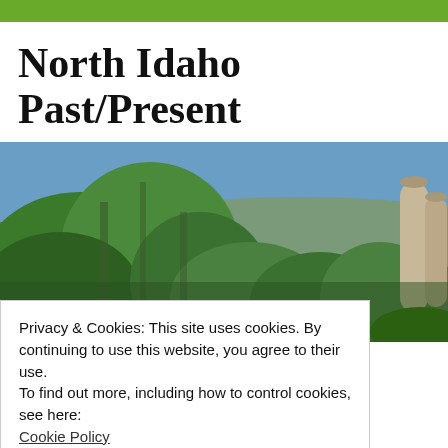North Idaho Past/Present
[Figure (photo): Outdoor landscape photo showing lush green trees and shrubs in the foreground with blue sky and mountains in the background; industrial silos or grain elevators visible on the right side.]
Privacy & Cookies: This site uses cookies. By continuing to use this website, you agree to their use.
To find out more, including how to control cookies, see here:
Cookie Policy
Close and accept
Entertaining Sandpoint Ferro Ball...